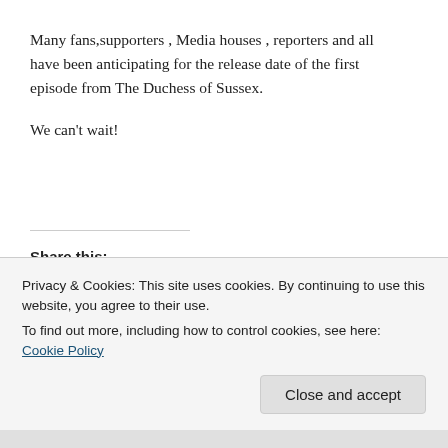Many fans,supporters , Media houses , reporters and all have been anticipating for the release date of the first episode from The Duchess of Sussex.
We can't wait!
Share this:
[Figure (other): Social share buttons: Twitter, Facebook, Print, LinkedIn, Reddit, Tumblr, Pinterest, Pocket, Telegram]
Privacy & Cookies: This site uses cookies. By continuing to use this website, you agree to their use.
To find out more, including how to control cookies, see here: Cookie Policy